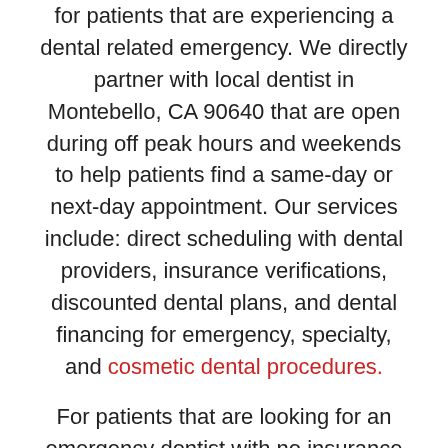for patients that are experiencing a dental related emergency. We directly partner with local dentist in Montebello, CA 90640 that are open during off peak hours and weekends to help patients find a same-day or next-day appointment. Our services include: direct scheduling with dental providers, insurance verifications, discounted dental plans, and dental financing for emergency, specialty, and cosmetic dental procedures.
For patients that are looking for an emergency dentist with no insurance or extra cash/credit to pay for their dental emergency, EDS now offers multiple financing options to help cover